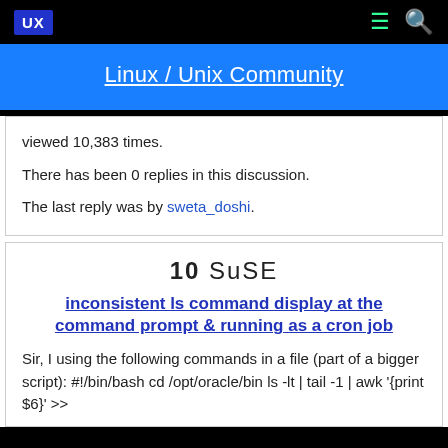UX | Linux / Unix Community
viewed 10,383 times.
There has been 0 replies in this discussion.
The last reply was by sweta_doshi.
10  SuSE
inconsistent ls command display at the command prompt & running as a cron job
Sir, I using the following commands in a file (part of a bigger script): #!/bin/bash cd /opt/oracle/bin ls -lt | tail -1 | awk '{print $6}' >>